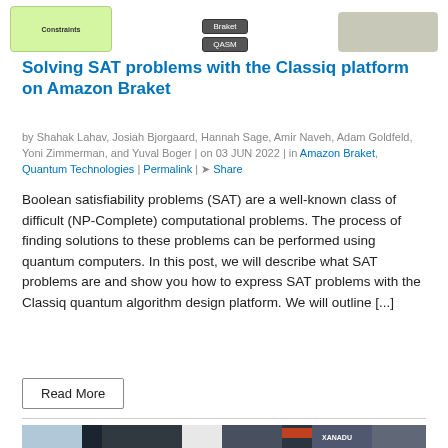[Figure (screenshot): Top portion of a diagram showing green Constraints box on left, center column with Braket and QASM boxes, and a gray rounded rectangle on the right]
Solving SAT problems with the Classiq platform on Amazon Braket
by Shahak Lahav, Josiah Bjorgaard, Hannah Sage, Amir Naveh, Adam Goldfeld, Yoni Zimmerman, and Yuval Boger | on 03 JUN 2022 | in Amazon Braket, Quantum Technologies | Permalink | Share
Boolean satisfiability problems (SAT) are a well-known class of difficult (NP-Complete) computational problems. The process of finding solutions to these problems can be performed using quantum computers. In this post, we will describe what SAT problems are and show you how to express SAT problems with the Classiq quantum algorithm design platform. We will outline [...]
Read More
[Figure (photo): Interior of the Xanadu quantum computing laboratory with large optical equipment, dark metal racks, and a red cart visible, with the Xanadu logo on the back wall]